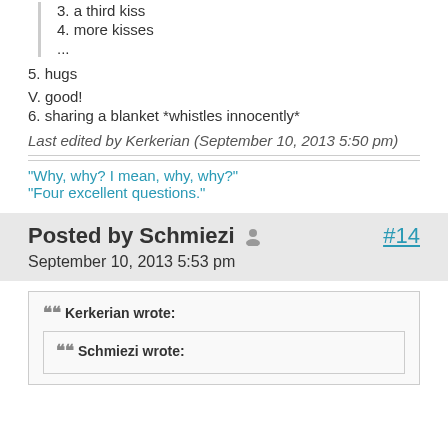3. a third kiss
4. more kisses
...
5. hugs
V. good!
6. sharing a blanket *whistles innocently*
Last edited by Kerkerian (September 10, 2013 5:50 pm)
"Why, why? I mean, why, why?"
"Four excellent questions."
Posted by Schmiezi  #14
September 10, 2013 5:53 pm
Kerkerian wrote:
Schmiezi wrote: